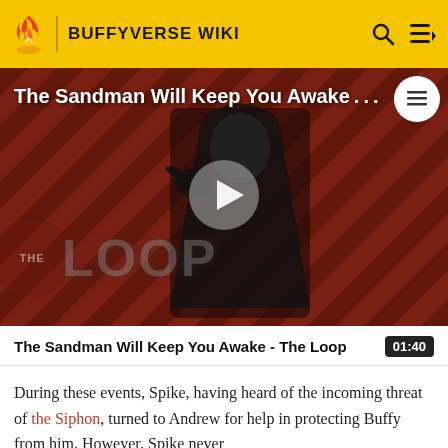BUFFYVERSE WIKI
[Figure (screenshot): Video thumbnail for 'The Sandman Will Keep You Awake - The Loop' showing a dark-cloaked figure against a red diagonal-striped background with THE LOOP watermark and a play button overlay.]
The Sandman Will Keep You Awake - The Loop  01:40
During these events, Spike, having heard of the incoming threat of the Siphon, turned to Andrew for help in protecting Buffy from him. However, Spike never